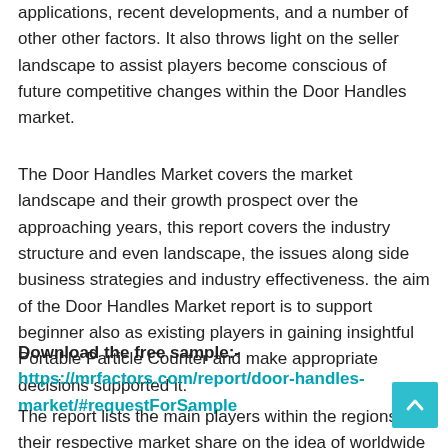applications, recent developments, and a number of other other factors. It also throws light on the seller landscape to assist players become conscious of future competitive changes within the Door Handles market.
The Door Handles Market covers the market landscape and their growth prospect over the approaching years, this report covers the industry structure and even landscape, the issues along side business strategies and industry effectiveness. the aim of the Door Handles Market report is to support beginner also as existing players in gaining insightful Portable Particle Counter and make appropriate decisions supported it.
Download the free sample:-https://mrfactors.com/report/door-handles-market/#requestForSample
The report lists the main players within the regions and their respective market share on the idea of worldwide revenue. It also